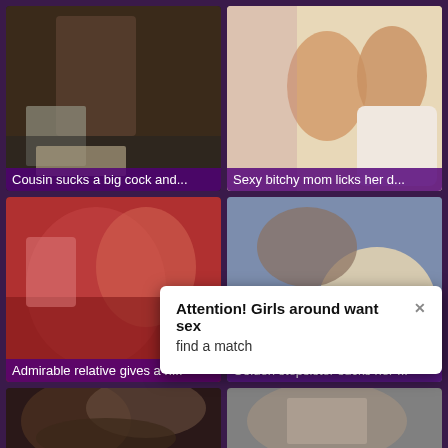[Figure (screenshot): Video thumbnail grid item 1 - dark toned intimate scene]
Cousin sucks a big cock and...
[Figure (screenshot): Video thumbnail grid item 2 - two women on white couch]
Sexy bitchy mom licks her d...
[Figure (screenshot): Video thumbnail grid item 3 - red background intimate scene]
Admirable relative gives a n...
[Figure (screenshot): Video thumbnail grid item 4 - blonde woman with tattooed person]
Golden stepsister sucks her ...
[Figure (screenshot): Video thumbnail grid item 5 - dark haired woman]
[Figure (screenshot): Video thumbnail grid item 6 - partial view]
Attention! Girls around want sex
find a match